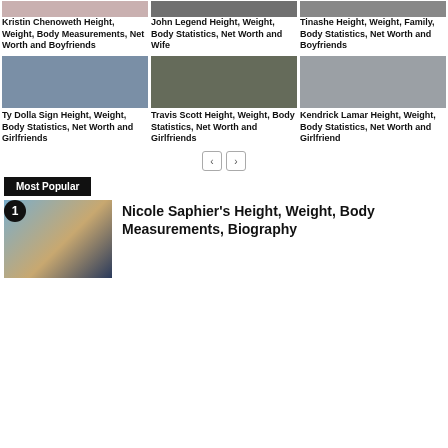[Figure (photo): Kristin Chenoweth partial photo top]
Kristin Chenoweth Height, Weight, Body Measurements, Net Worth and Boyfriends
[Figure (photo): John Legend partial photo top]
John Legend Height, Weight, Body Statistics, Net Worth and Wife
[Figure (photo): Tinashe partial photo top]
Tinashe Height, Weight, Family, Body Statistics, Net Worth and Boyfriends
[Figure (photo): Ty Dolla Sign photo]
Ty Dolla Sign Height, Weight, Body Statistics, Net Worth and Girlfriends
[Figure (photo): Travis Scott photo]
Travis Scott Height, Weight, Body Statistics, Net Worth and Girlfriends
[Figure (photo): Kendrick Lamar photo]
Kendrick Lamar Height, Weight, Body Statistics, Net Worth and Girlfriend
Most Popular
[Figure (photo): Nicole Saphier photo]
Nicole Saphier's Height, Weight, Body Measurements, Biography